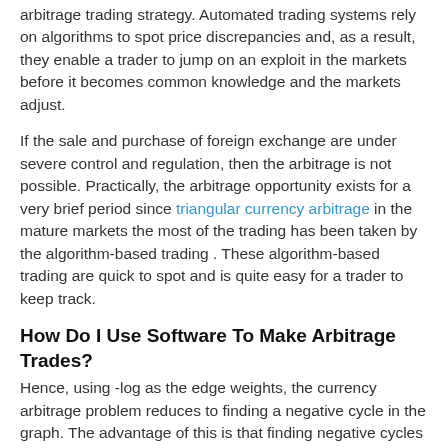arbitrage trading strategy. Automated trading systems rely on algorithms to spot price discrepancies and, as a result, they enable a trader to jump on an exploit in the markets before it becomes common knowledge and the markets adjust.
If the sale and purchase of foreign exchange are under severe control and regulation, then the arbitrage is not possible. Practically, the arbitrage opportunity exists for a very brief period since triangular currency arbitrage in the mature markets the most of the trading has been taken by the algorithm-based trading . These algorithm-based trading are quick to spot and is quite easy for a trader to keep track.
How Do I Use Software To Make Arbitrage Trades?
Hence, using -log as the edge weights, the currency arbitrage problem reduces to finding a negative cycle in the graph. The advantage of this is that finding negative cycles is a well-studied problem in graph